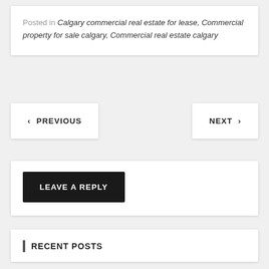Posted in Calgary commercial real estate for lease, Commercial property for sale calgary, Commercial real estate calgary
< PREVIOUS
NEXT >
LEAVE A REPLY
RECENT POSTS